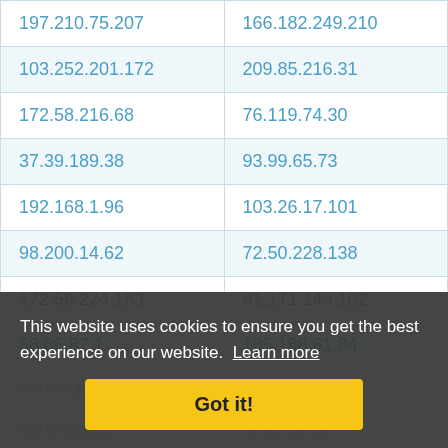| 197.210.75.207 | 166.182.249.210 |
| 103.252.201.172 | 209.85.216.31 |
| 172.58.216.68 | 76.119.74.30 |
| 37.39.189.38 | 93.99.65.73 |
| 192.168.1.96 | 103.26.17.101 |
| 98.200.14.62 | 72.50.228.138 |
| 172.58.224.183 | 91.171.145.102 |
| 68.86.87.1 | 185.188.61.84 |
|  |  |
| 209.97.134.255 | 62.102.10.220 |
| 20.29.19.134 | 34.58.235.136 |
| 66.243.201.160 | 34.76.85.149 |
This website uses cookies to ensure you get the best experience on our website. Learn more